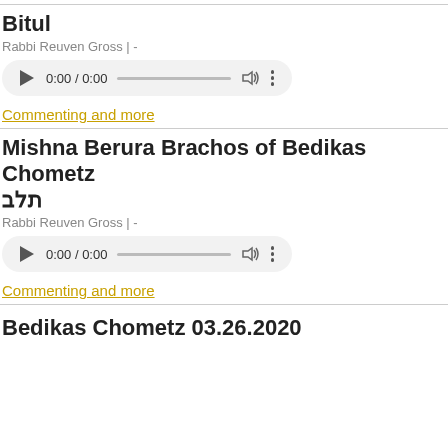Bitul
Rabbi Reuven Gross | -
[Figure (other): Audio player widget showing 0:00 / 0:00 with play button, progress bar, volume icon, and more options icon]
Commenting and more
Mishna Berura Brachos of Bedikas Chometz תלב
Rabbi Reuven Gross | -
[Figure (other): Audio player widget showing 0:00 / 0:00 with play button, progress bar, volume icon, and more options icon]
Commenting and more
Bedikas Chometz 03.26.2020